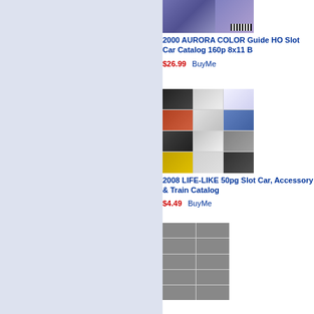[Figure (photo): Product thumbnail for 2000 Aurora Color Guide HO Slot Car Catalog]
2000 AURORA COLOR Guide HO Slot Car Catalog 160p 8x11 B
$26.99  BuyMe
[Figure (photo): Product thumbnail for 2008 Life-Like Slot Car Accessory & Train Catalog]
2008 LIFE-LIKE 50pg Slot Car, Accessory & Train Catalog
$4.49  BuyMe
[Figure (photo): Product thumbnail for Aurora slot car catalog (partial view at bottom)]